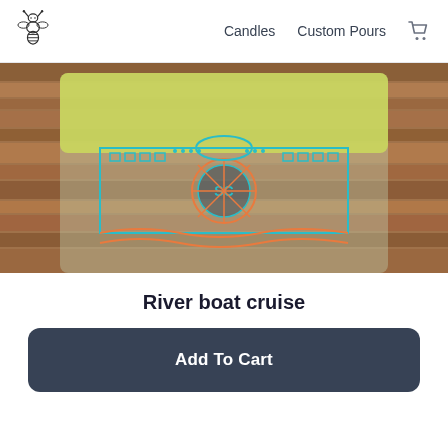Candles  Custom Pours
[Figure (photo): Close-up photo of a glass candle with a teal/turquoise riverboat cruise illustration printed on it, sitting on a wooden surface. The candle wax is yellow-green.]
River boat cruise
Add To Cart